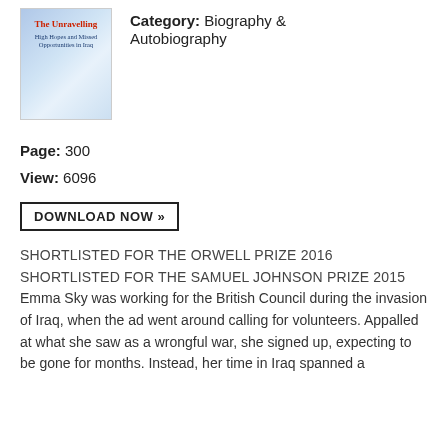[Figure (illustration): Book cover image for 'The Unravelling: High Hopes and Missed Opportunities in Iraq']
Category: Biography & Autobiography
Page: 300
View: 6096
DOWNLOAD NOW »
SHORTLISTED FOR THE ORWELL PRIZE 2016
SHORTLISTED FOR THE SAMUEL JOHNSON PRIZE 2015
Emma Sky was working for the British Council during the invasion of Iraq, when the ad went around calling for volunteers. Appalled at what she saw as a wrongful war, she signed up, expecting to be gone for months. Instead, her time in Iraq spanned a